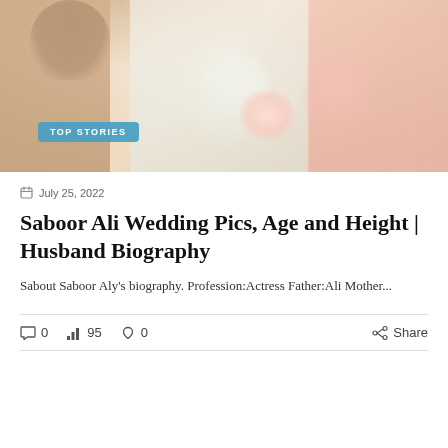[Figure (photo): Wedding photo of Saboor Ali and her husband with garlands, with a 'TOP STORIES' badge overlay in the bottom left]
July 25, 2022
Saboor Ali Wedding Pics, Age and Height | Husband Biography
Sabout Saboor Aly's biography. Profession:Actress Father:Ali Mother...
0  95  0  Share